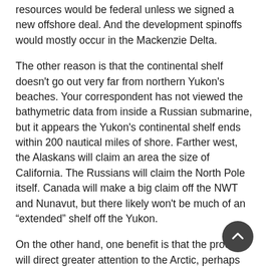resources would be federal unless we signed a new offshore deal. And the development spinoffs would mostly occur in the Mackenzie Delta.
The other reason is that the continental shelf doesn't go out very far from northern Yukon's beaches. Your correspondent has not viewed the bathymetric data from inside a Russian submarine, but it appears the Yukon's continental shelf ends within 200 nautical miles of shore. Farther west, the Alaskans will claim an area the size of California. The Russians will claim the North Pole itself. Canada will make a big claim off the NWT and Nunavut, but there likely won't be much of an “extended” shelf off the Yukon.
On the other hand, one benefit is that the process will direct greater attention to the Arctic, perhaps giving us a chance to talk to our neighbours about strengthening environmental